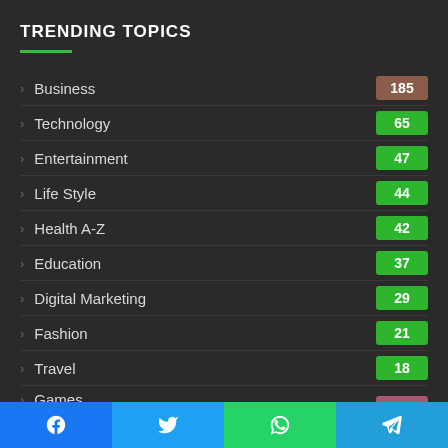TRENDING TOPICS
Business 185
Technology 65
Entertainment 47
Life Style 44
Health A-Z 42
Education 37
Digital Marketing 29
Fashion 21
Travel 18
Games